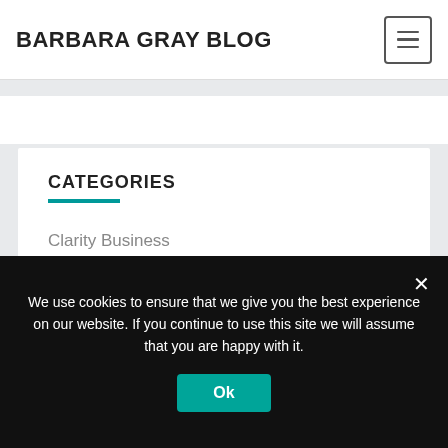BARBARA GRAY BLOG
CATEGORIES
Clarity Business
Clarity Events and TV SHows
Claritystampshortstories
competition
We use cookies to ensure that we give you the best experience on our website. If you continue to use this site we will assume that you are happy with it.